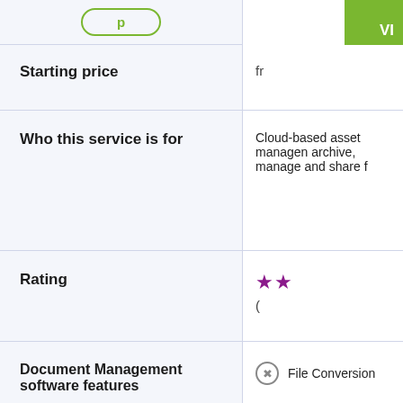[Figure (other): Green rounded button (partially visible) in left column top area]
[Figure (other): Green badge with text 'VI' in top right corner of right column]
|  |  |
| --- | --- |
| Starting price | fr |
| Who this service is for | Cloud-based asset managen archive, manage and share f |
| Rating | ★★ ( |
| Document Management software features | ⊗ File Conversion |